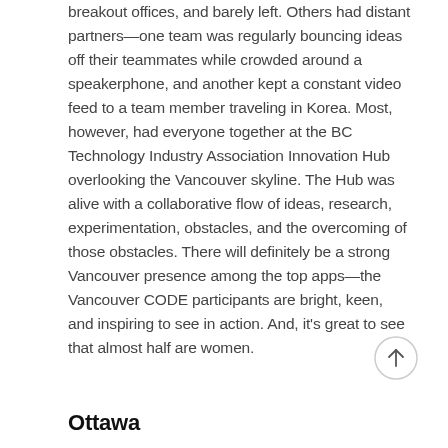breakout offices, and barely left. Others had distant partners—one team was regularly bouncing ideas off their teammates while crowded around a speakerphone, and another kept a constant video feed to a team member traveling in Korea. Most, however, had everyone together at the BC Technology Industry Association Innovation Hub overlooking the Vancouver skyline. The Hub was alive with a collaborative flow of ideas, research, experimentation, obstacles, and the overcoming of those obstacles. There will definitely be a strong Vancouver presence among the top apps—the Vancouver CODE participants are bright, keen, and inspiring to see in action. And, it's great to see that almost half are women.
[Figure (other): Circular scroll-to-top button with an upward arrow icon]
Ottawa